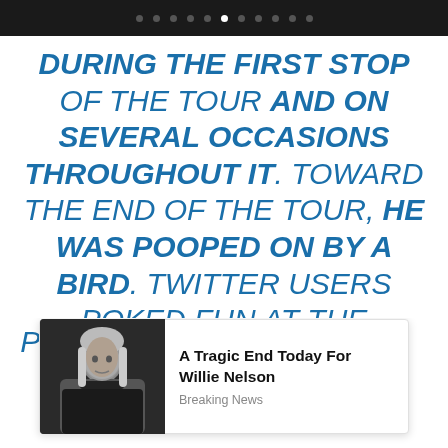[navigation dots]
DURING THE FIRST STOP OF THE TOUR AND ON SEVERAL OCCASIONS THROUGHOUT IT. TOWARD THE END OF THE TOUR, HE WAS POOPED ON BY A BIRD. TWITTER USERS POKED FUN AT THE INCIDENT AND COMPARED IT TO SANDERS' FAMOUS INTERACTION WITH A BIRD THAT LANDED ON HIS PODIUM DURING HIS PRESIDENTIAL CAMPAIGN.
[Figure (photo): Advertisement overlay showing a photo of Willie Nelson (elderly man with long grey hair) beside text: 'A Tragic End Today For Willie Nelson' and subtext 'Breaking News']